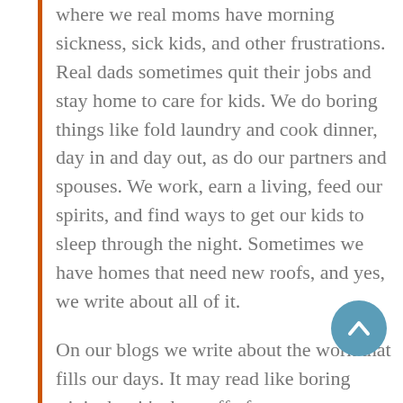where we real moms have morning sickness, sick kids, and other frustrations. Real dads sometimes quit their jobs and stay home to care for kids. We do boring things like fold laundry and cook dinner, day in and day out, as do our partners and spouses. We work, earn a living, feed our spirits, and find ways to get our kids to sleep through the night. Sometimes we have homes that need new roofs, and yes, we write about all of it.
On our blogs we write about the work that fills our days. It may read like boring trivia, but it's the stuff of